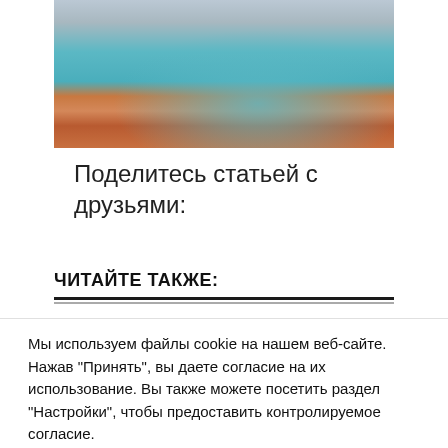[Figure (photo): Aerial view of a colorful coastal town with harbor, beach and church, resembling Cinque Terre, Italy]
Поделитесь статьей с друзьями:
ЧИТАЙТЕ ТАКЖЕ:
Мы используем файлы cookie на нашем веб-сайте. Нажав "Принять", вы даете согласие на их использование. Вы также можете посетить раздел "Настройки", чтобы предоставить контролируемое согласие.